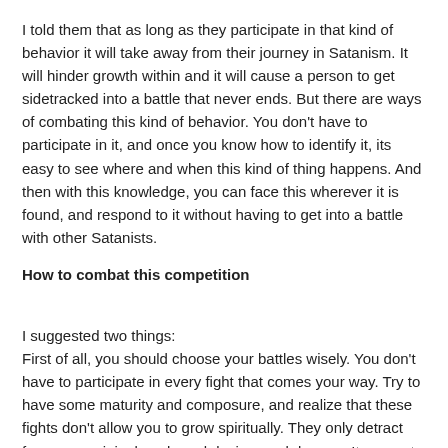I told them that as long as they participate in that kind of behavior it will take away from their journey in Satanism. It will hinder growth within and it will cause a person to get sidetracked into a battle that never ends. But there are ways of combating this kind of behavior. You don't have to participate in it, and once you know how to identify it, its easy to see where and when this kind of thing happens. And then with this knowledge, you can face this wherever it is found, and respond to it without having to get into a battle with other Satanists.
How to combat this competition
I suggested two things:
First of all, you should choose your battles wisely. You don't have to participate in every fight that comes your way. Try to have some maturity and composure, and realize that these fights don't allow you to grow spiritually. They only detract from your original goals and desires and dreams. Its a waste of time in the long run.